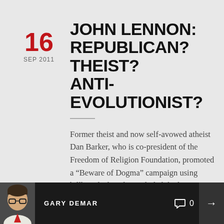16 SEP 2011 JOHN LENNON: REPUBLICAN? THEIST? ANTI-EVOLUTIONIST?
Former theist and now self-avowed atheist Dan Barker, who is co-president of the Freedom of Religion Foundation, promoted a “Beware of Dogma” campaign using billboards that also included the line “Imagine No Religion,” borrowed from John Lennon’s atheist national anthem “Imagine.” I wonder if the FRF’s call for everyone to
GARY DEMAR  0